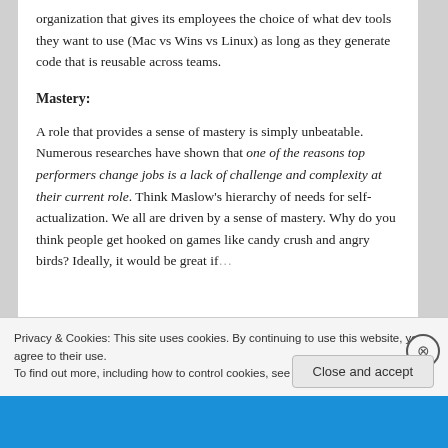organization that gives its employees the choice of what dev tools they want to use (Mac vs Wins vs Linux) as long as they generate code that is reusable across teams.
Mastery:
A role that provides a sense of mastery is simply unbeatable. Numerous researches have shown that one of the reasons top performers change jobs is a lack of challenge and complexity at their current role. Think Maslow's hierarchy of needs for self-actualization. We all are driven by a sense of mastery. Why do you think people get hooked on games like candy crush and angry birds? Ideally, it would be great if [truncated]
Privacy & Cookies: This site uses cookies. By continuing to use this website, you agree to their use.
To find out more, including how to control cookies, see here: Cookie Policy
Close and accept